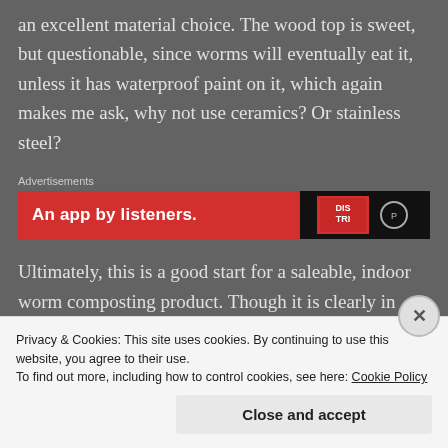an excellent material choice. The wood top is sweet, but questionable, since worms will eventually eat it, unless it has waterproof paint on it, which again makes me ask, why not use ceramics? Or stainless steel?
Advertisements
[Figure (other): Red advertisement banner reading 'An app by listeners.' with a dark graphic panel on the right side]
Ultimately, this is a good start for a saleable, indoor worm composting product. Though it is clearly in
Privacy & Cookies: This site uses cookies. By continuing to use this website, you agree to their use.
To find out more, including how to control cookies, see here: Cookie Policy